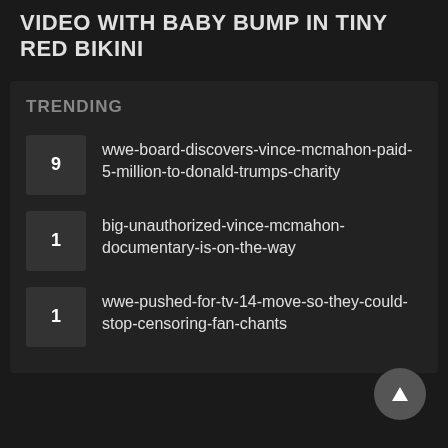VIDEO WITH BABY BUMP IN TINY RED BIKINI
TRENDING
9 wwe-board-discovers-vince-mcmahon-paid-5-million-to-donald-trumps-charity
1 big-unauthorized-vince-mcmahon-documentary-is-on-the-way
1 wwe-pushed-for-tv-14-move-so-they-could-stop-censoring-fan-chants